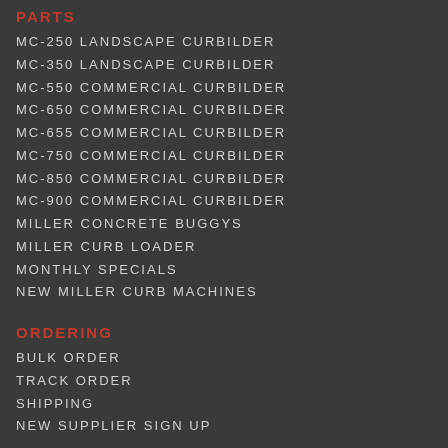PARTS
MC-250 LANDSCAPE CURBILDER
MC-350 LANDSCAPE CURBILDER
MC-550 COMMERCIAL CURBILDER
MC-650 COMMERCIAL CURBILDER
MC-655 COMMERCIAL CURBILDER
MC-750 COMMERCIAL CURBILDER
MC-850 COMMERCIAL CURBILDER
MC-900 COMMERCIAL CURBILDER
MILLER CONCRETE BUGGYS
MILLER CURB LOADER
MONTHLY SPECIALS
NEW MILLER CURB MACHINES
ORDERING
BULK ORDER
TRACK ORDER
SHIPPING
NEW SUPPLIER SIGN UP